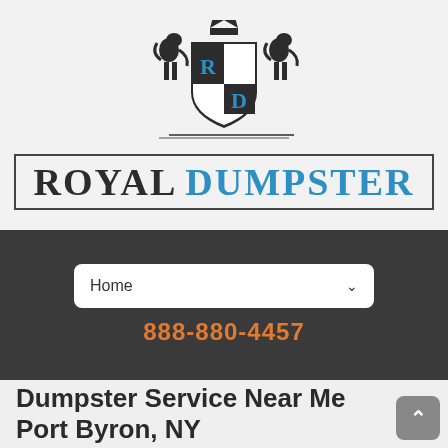[Figure (logo): Royal Dumpster logo with heraldic crest featuring two lions flanking a shield with R and D letters, and the text ROYAL DUMPSTER below in a bordered box]
Home
888-880-4457
Dumpster Service Near Me Port Byron, NY